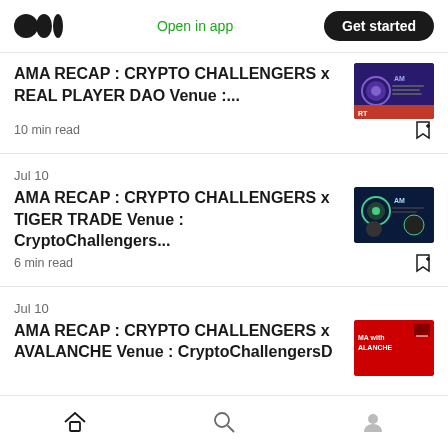Medium app header — Open in app | Get started
AMA RECAP : CRYPTO CHALLENGERS x REAL PLAYER DAO Venue :...
10 min read
Jul 10
AMA RECAP : CRYPTO CHALLENGERS x TIGER TRADE Venue : CryptoChallengers...
6 min read
Jul 10
AMA RECAP : CRYPTO CHALLENGERS x AVALANCHE Venue : CryptoChallengersD
Home | Search | Profile